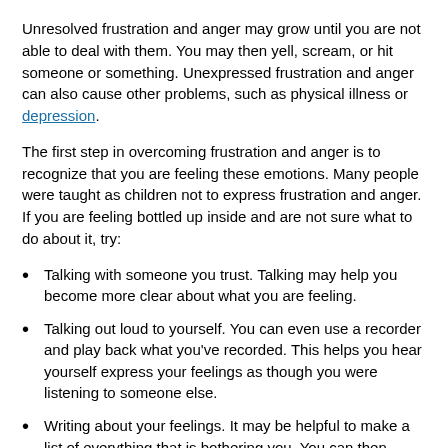Unresolved frustration and anger may grow until you are not able to deal with them. You may then yell, scream, or hit someone or something. Unexpressed frustration and anger can also cause other problems, such as physical illness or depression.
The first step in overcoming frustration and anger is to recognize that you are feeling these emotions. Many people were taught as children not to express frustration and anger. If you are feeling bottled up inside and are not sure what to do about it, try:
Talking with someone you trust. Talking may help you become more clear about what you are feeling.
Talking out loud to yourself. You can even use a recorder and play back what you've recorded. This helps you hear yourself express your feelings as though you were listening to someone else.
Writing about your feelings. It may be helpful to make a list of everything that is bothering you. You can then decide which items you can change and write down ways that you can change them.
Recognizing things that you cannot change. There may be things that you can do nothing about. Simply writing them down is often helpful. Reminding yourself that some things are beyond your control also helps. Letting go of the wish that things were different can free you to deal with things as they are.